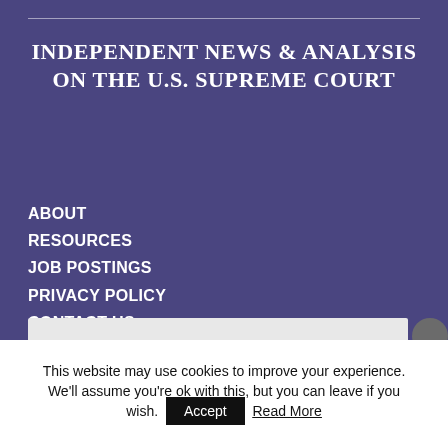INDEPENDENT NEWS & ANALYSIS ON THE U.S. SUPREME COURT
ABOUT
RESOURCES
JOB POSTINGS
PRIVACY POLICY
CONTACT US
This website may use cookies to improve your experience. We'll assume you're ok with this, but you can leave if you wish.
Accept
Read More